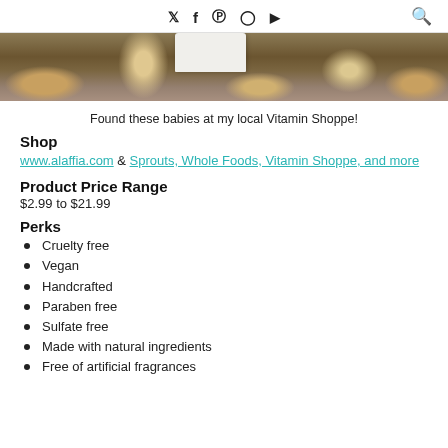Social media icons: Twitter, Facebook, Pinterest, Instagram, YouTube; Search icon
[Figure (photo): Partial photo of products with natural/dried botanical decor on a dark wooden surface, with a white bottle visible]
Found these babies at my local Vitamin Shoppe!
Shop
www.alaffia.com & Sprouts, Whole Foods, Vitamin Shoppe, and more
Product Price Range
$2.99 to $21.99
Perks
Cruelty free
Vegan
Handcrafted
Paraben free
Sulfate free
Made with natural ingredients
Free of artificial fragrances